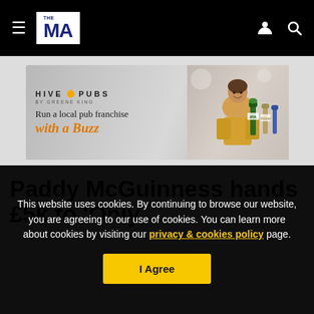THE MA navigation bar with hamburger menu, logo, user icon, search icon
[Figure (photo): Hive Pubs by Greene King advertisement banner. Text: 'HIVE PUBS BY GREENE KING - Run a local pub franchise with a Buzz'. Image of a smiling woman in yellow top behind bar taps.]
Paddy McGuinness hands £5k to 'Only
This website uses cookies. By continuing to browse our website, you are agreeing to our use of cookies. You can learn more about cookies by visiting our privacy & cookies policy page.
I Agree